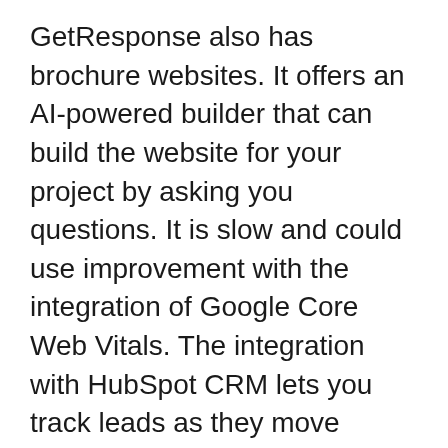GetResponse also has brochure websites. It offers an AI-powered builder that can build the website for your project by asking you questions. It is slow and could use improvement with the integration of Google Core Web Vitals. The integration with HubSpot CRM lets you track leads as they move through the pipeline.
You should make sure to review the limitations of the platform prior to purchasing. Some platforms restrict the amount of actions you can perform every month. Some have limitations on databases. Think about how many contacts you will have and how many emails you'll be sending each one. Take note of your goals. Keep in mind that marketing automation software